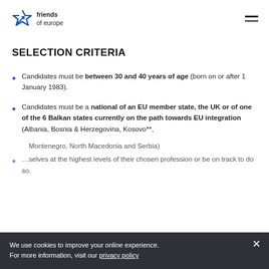friends of europe
SELECTION CRITERIA
Candidates must be between 30 and 40 years of age (born on or after 1 January 1983).
Candidates must be a national of an EU member state, the UK or of one of the 6 Balkan states currently on the path towards EU integration (Albania, Bosnia & Herzegovina, Kosovo**, Montenegro, North Macedonia and Serbia)
Candidates must have established themselves at the highest levels of their chosen profession or be on track to do so.
We use cookies to improve your online experience. For more information, visit our privacy policy